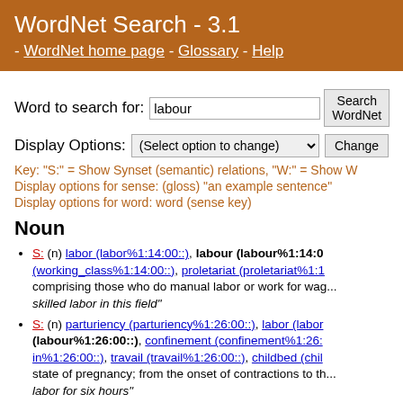WordNet Search - 3.1 - WordNet home page - Glossary - Help
Word to search for: labour [Search WordNet button]
Display Options: (Select option to change) [Change button]
Key: "S:" = Show Synset (semantic) relations, "W:" = Show W
Display options for sense: (gloss) "an example sentence"
Display options for word: word (sense key)
Noun
S: (n) labor (labor%1:14:00::), labour (labour%1:14:0...), (working_class%1:14:00::), proletariat (proletariat%1:1...) comprising those who do manual labor or work for wag... skilled labor in this field"
S: (n) parturiency (parturiency%1:26:00::), labor (labor...) (labour%1:26:00::), confinement (confinement%1:26:...) in%1:26:00::), travail (travail%1:26:00::), childbed (chil...) state of pregnancy; from the onset of contractions to th... labor for six hours"